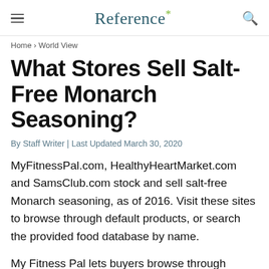Reference*
Home › World View
What Stores Sell Salt-Free Monarch Seasoning?
By Staff Writer | Last Updated March 30, 2020
MyFitnessPal.com, HealthyHeartMarket.com and SamsClub.com stock and sell salt-free Monarch seasoning, as of 2016. Visit these sites to browse through default products, or search the provided food database by name.
My Fitness Pal lets buyers browse through nutritional compositions of different salt-free Monarch